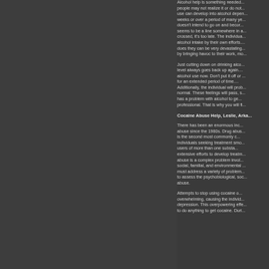Alcohol help is something needed... people may not realize it or do not... use can develop into alcohol depen... weeks or over a period of many ye... doesn't intend to go on and becor... seems to be a line somewhere in a... crossed, it's too late. The individua... alcohol intake by their own efforts... does they can be very devastating... by bringing havoc to their work, mo...
Just cutting down on drinking alco... level always goes back up again... alcohol use now. Don't put it off or... for an extended period of time... Additionally, the individual will prob... normal. These feelings will pass, s... has a problem with alcohol to ge... professional. That is why you will fi...
Cocaine Abuse Help, Leslie, Arka...
There has been an enormous inc... abuse since the 1980s. Drug abus... is the second most commonly c... individuals seeking treatment smo... users of more than one substa... extensive efforts to develop treatm... abuse is a complex problem invol... social, familial, and environmental... must address a variety of problem... to assess the psychobiological, soc... abuse.
Attempts to stop using cocaine o... overwhelming, causing the individ... depression. This overpowering effe... to do anything to get cocaine. Duri...